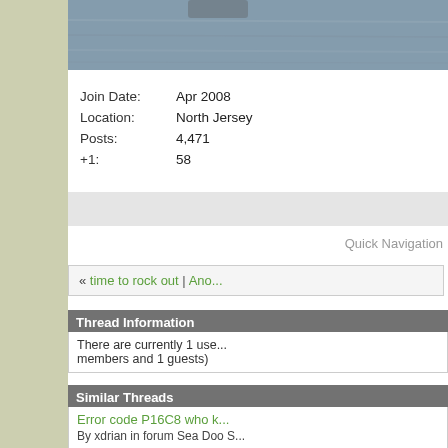[Figure (photo): Partial view of a person on water (jet ski or watercraft scene), water in background, cropped at top]
| Join Date: | Apr 2008 |
| Location: | North Jersey |
| Posts: | 4,471 |
| +1: | 58 |
Quick Navigation
« time to rock out | Ano...
Thread Information
There are currently 1 users browsing this thread. (0 members and 1 guests)
Similar Threads
Error code P16C8 who k...
By xdrian in forum Sea Doo S...